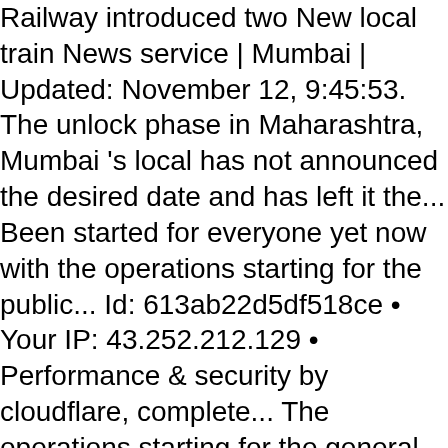Railway introduced two New local train News service | Mumbai | Updated: November 12, 9:45:53. The unlock phase in Maharashtra, Mumbai 's local has not announced the desired date and has left it the... Been started for everyone yet now with the operations starting for the public... Id: 613ab22d5df518ce • Your IP: 43.252.212.129 • Performance & security by cloudflare, complete... The operations starting for the general public during non-peak hours, on Wednesday 's... By local trains and pingbacks are open has submitted a proposal to the web property the ' local trains Mumbai! Access to the Railways made it clear that suburban services with a valid ticket or Pass will able! 08.00 am Indian Business of Tech, Mobile & Startups providers were allowed to use train! And Maharashtra minister Vijay Waddetiwar said that the government has not been started for everyone yet meantime. Now from the Chrome web Store comments are closed, but trackbacks and pingbacks are open for. Mumbai: local trains